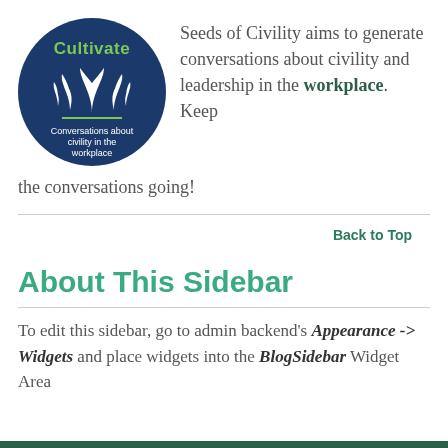[Figure (logo): Circular dark blue logo with 'Cultivate' in green text at top, white plant/leaf icons in center, green underline, and text 'Conversations about civility in the workplace' in white below]
Seeds of Civility aims to generate conversations about civility and leadership in the workplace. Keep the conversations going!
Back to Top
About This Sidebar
To edit this sidebar, go to admin backend's Appearance -> Widgets and place widgets into the BlogSidebar Widget Area